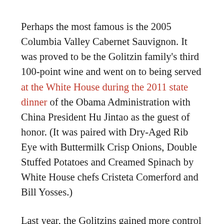Perhaps the most famous is the 2005 Columbia Valley Cabernet Sauvignon. It was proved to be the Golitzin family's third 100-point wine and went on to being served at the White House during the 2011 state dinner of the Obama Administration with China President Hu Jintao as the guest of honor. (It was paired with Dry-Aged Rib Eye with Buttermilk Crisp Onions, Double Stuffed Potatoes and Creamed Spinach by White House chefs Cristeta Comerford and Bill Yosses.)
Last year, the Golitzins gained more control over famed Champoux Vineyards in the Horse Heaven Hills by acquiring the majority of the shares belonging to Rick Small and Darcey Fugman-Small, founders of family-owned Woodward Canyon Winery in the Walla Walla Valley.